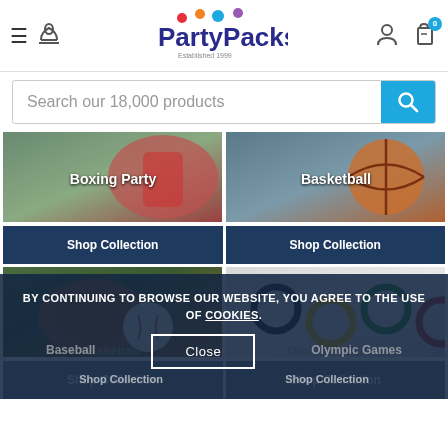[Figure (screenshot): PartyPacks website header with hamburger menu, phone icon, logo, user icon, and cart icon with badge 0]
Search our 18,000 products
[Figure (photo): Boxing Party category card with shop collection button]
[Figure (photo): Basketball category card with shop collection button]
[Figure (photo): Baseball category card with shop collection button]
[Figure (photo): Olympic Games category card with shop collection button]
BY CONTINUING TO BROWSE OUR WEBSITE, YOU AGREE TO THE USE OF COOKIES.
Close